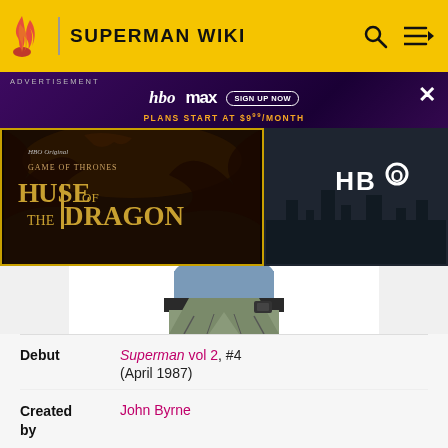SUPERMAN WIKI
[Figure (screenshot): HBO Max advertisement banner with House of the Dragon promotional image on the left and HBO logo on the right. Purple/dark background with stars. Text reads: hbomax SIGN UP NOW PLANS START AT $9.99/MONTH]
[Figure (illustration): Partial view of a comic-book style character illustration showing torso and lower body with dark outfit]
| Debut | Superman vol 2, #4 (April 1987) |
| Created by | John Byrne |
| Portrayed by | see In other media |